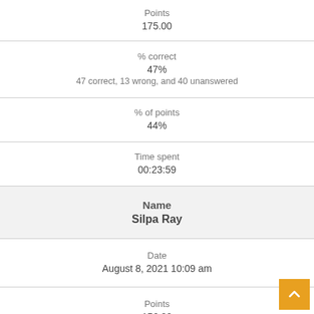| Points | 175.00 |
| % correct | 47% | 47 correct, 13 wrong, and 40 unanswered |
| % of points | 44% |
| Time spent | 00:23:59 |
| Name | Silpa Ray |
| Date | August 8, 2021 10:09 am |
| Points | 156.00 |
| % correct | 49% |